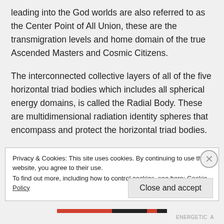leading into the God worlds are also referred to as the Center Point of All Union, these are the transmigration levels and home domain of the true Ascended Masters and Cosmic Citizens.
The interconnected collective layers of all of the five horizontal triad bodies which includes all spherical energy domains, is called the Radial Body. These are multidimensional radiation identity spheres that encompass and protect the horizontal triad bodies.
Privacy & Cookies: This site uses cookies. By continuing to use this website, you agree to their use.
To find out more, including how to control cookies, see here: Cookie Policy
Close and accept